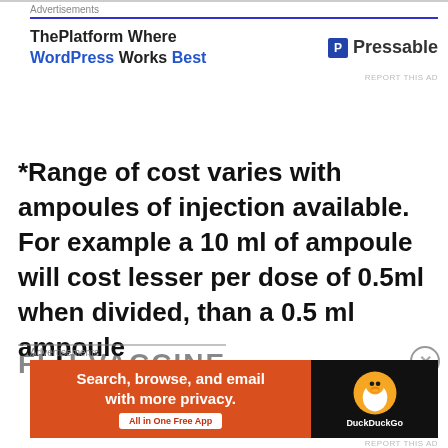[Figure (screenshot): Top advertisement banner for Pressable/WordPress hosting. Blue header line, text 'ThePlatform Where WordPress Works Best' with Pressable logo.]
*Range of cost varies with ampoules of injection available. For example a 10 ml of ampoule will cost lesser per dose of 0.5ml when divided, than a 0.5 ml ampoule
FLU VACCINE
[Figure (screenshot): Bottom advertisement banner for DuckDuckGo app. Orange section: 'Search, browse, and email with more privacy. All in One Free App'. Dark section with DuckDuckGo duck logo.]